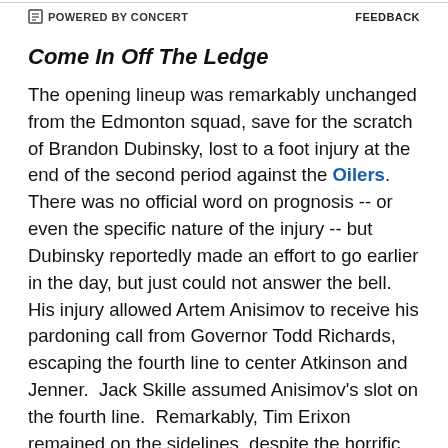POWERED BY CONCERT    FEEDBACK
Come In Off The Ledge
The opening lineup was remarkably unchanged from the Edmonton squad, save for the scratch of Brandon Dubinsky, lost to a foot injury at the end of the second period against the Oilers.  There was no official word on prognosis -- or even the specific nature of the injury -- but Dubinsky reportedly made an effort to go earlier in the day, but just could not answer the bell.  His injury allowed Artem Anisimov to receive his pardoning call from Governor Todd Richards, escaping the fourth line to center Atkinson and Jenner.  Jack Skille assumed Anisimov's slot on the fourth line.  Remarkably, Tim Erixon remained on the sidelines, despite the horrific showing by the blue liners last night..  (As anticipated,